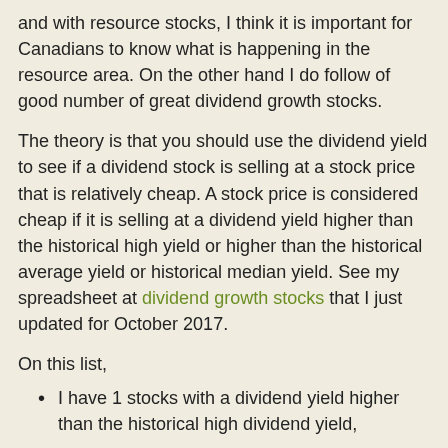and with resource stocks, I think it is important for Canadians to know what is happening in the resource area. On the other hand I do follow of good number of great dividend growth stocks.
The theory is that you should use the dividend yield to see if a dividend stock is selling at a stock price that is relatively cheap. A stock price is considered cheap if it is selling at a dividend yield higher than the historical high yield or higher than the historical average yield or historical median yield. See my spreadsheet at dividend growth stocks that I just updated for October 2017.
On this list,
I have 1 stocks with a dividend yield higher than the historical high dividend yield,
I have 36 stocks with a dividend yield higher than the historical average dividend yield
I have 63 stocks with a dividend yield higher than the historical median dividend yield and